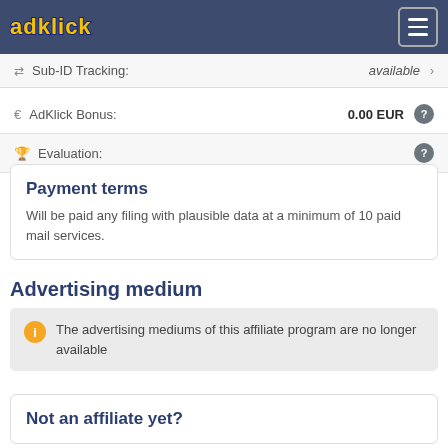adklick
Sub-ID Tracking: available
€ AdKlick Bonus: 0.00 EUR
Evaluation:
Payment terms
Will be paid any filing with plausible data at a minimum of 10 paid mail services.
Advertising medium
The advertising mediums of this affiliate program are no longer available
Not an affiliate yet?